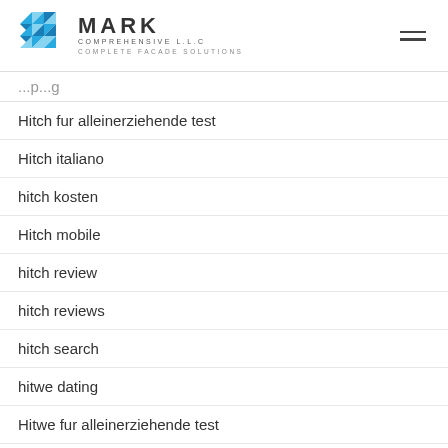MARK COMPREHENSIVE L.L.C — COMPLETE FACADE SOLUTIONS
Hitch fur alleinerziehende test
Hitch italiano
hitch kosten
Hitch mobile
hitch review
hitch reviews
hitch search
hitwe dating
Hitwe fur alleinerziehende test